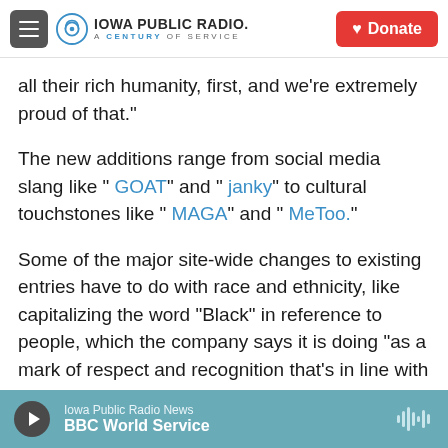Iowa Public Radio. A Century of Service.
all their rich humanity, first, and we're extremely proud of that."
The new additions range from social media slang like " GOAT" and " janky" to cultural touchstones like " MAGA" and " MeToo."
Some of the major site-wide changes to existing entries have to do with race and ethnicity, like capitalizing the word "Black" in reference to people, which the company says it is doing "as a mark of respect and recognition that's in line with capitalizing other cultures and ethnicities."
Iowa Public Radio News | BBC World Service